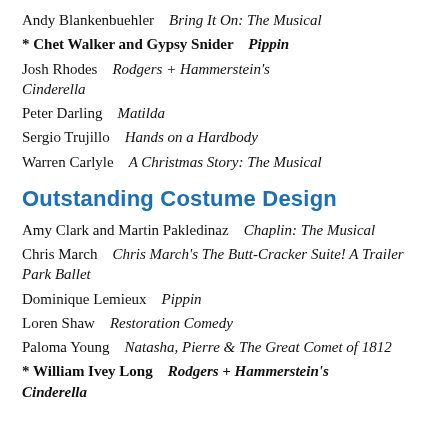Andy Blankenbuehler    Bring It On: The Musical
* Chet Walker and Gypsy Snider    Pippin
Josh Rhodes    Rodgers + Hammerstein's Cinderella
Peter Darling    Matilda
Sergio Trujillo    Hands on a Hardbody
Warren Carlyle    A Christmas Story: The Musical
Outstanding Costume Design
Amy Clark and Martin Pakledinaz    Chaplin: The Musical
Chris March    Chris March's The Butt-Cracker Suite! A Trailer Park Ballet
Dominique Lemieux    Pippin
Loren Shaw    Restoration Comedy
Paloma Young    Natasha, Pierre & The Great Comet of 1812
* William Ivey Long    Rodgers + Hammerstein's Cinderella